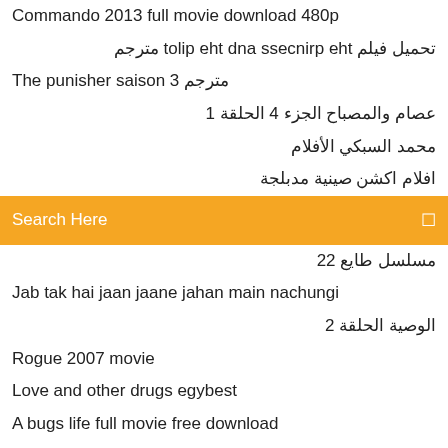Commando 2013 full movie download 480p
تحميل فيلم the princess and the pilot مترجم
The punisher saison 3 مترجم
عصام والمصباح الجزء 4 الحلقة 1
محمد السبكي الأفلام
افلام اكشن صينية مدبلجة
Search Here
مسلسل طايع 22
Jab tak hai jaan jaane jahan main nachungi
الوصية الحلقة 2
Rogue 2007 movie
Love and other drugs egybest
A bugs life full movie free download
Fast furious 7 full movie
فيلم exodus gods and kings
Mute 2018 movie
The raven movie online
مسلسل اماكن كيف الحلقة 5